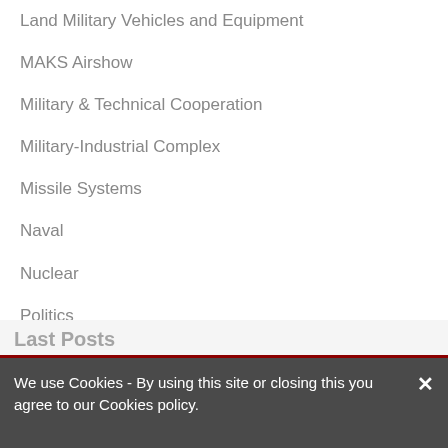Land Military Vehicles and Equipment
MAKS Airshow
Military & Technical Cooperation
Military-Industrial Complex
Missile Systems
Naval
Nuclear
Politics
Popular posts
Press Releases
Security Systems and Equipment
Space
Strategy & Technology
Unmanned Systems
Last Posts
We use Cookies - By using this site or closing this you agree to our Cookies policy.